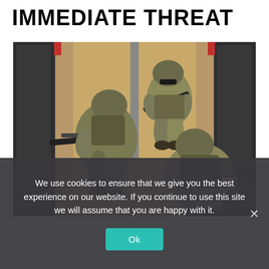IMMEDIATE THREAT
[Figure (photo): Three military/tactical soldiers in camouflage uniforms and helmets with rifles, conducting a building entry/breach maneuver from an overhead angle.]
We use cookies to ensure that we give you the best experience on our website. If you continue to use this site we will assume that you are happy with it.